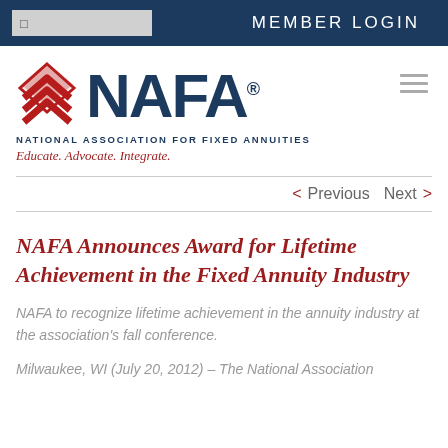MEMBER LOGIN
[Figure (logo): NAFA logo with red diamond/arrow graphic, dark blue NAFA text, tagline 'NATIONAL ASSOCIATION FOR FIXED ANNUITIES' and 'Educate. Advocate. Integrate.']
< Previous   Next >
NAFA Announces Award for Lifetime Achievement in the Fixed Annuity Industry
NAFA to recognize lifetime achievement in the annuity industry at the association's fall conference.
Milwaukee, WI (July 20, 2012) – The National Association